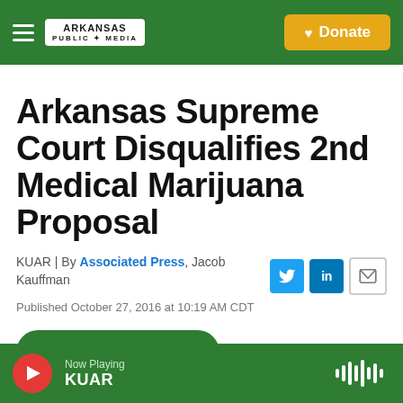[Figure (logo): Arkansas Public Media logo in white box with green navigation bar, hamburger menu, and golden Donate button]
Arkansas Supreme Court Disqualifies 2nd Medical Marijuana Proposal
KUAR | By Associated Press, Jacob Kauffman
Published October 27, 2016 at 10:19 AM CDT
LISTEN • 1:36
Now Playing KUAR